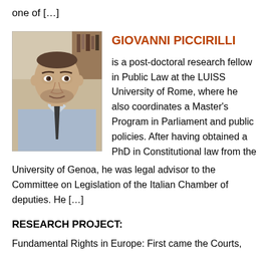one of […]
[Figure (photo): Portrait photo of Giovanni Piccirilli, a man in a light blue shirt and dark tie, seated indoors with bookshelves in background.]
GIOVANNI PICCIRILLI
is a post-doctoral research fellow in Public Law at the LUISS University of Rome, where he also coordinates a Master's Program in Parliament and public policies. After having obtained a PhD in Constitutional law from the University of Genoa, he was legal advisor to the Committee on Legislation of the Italian Chamber of deputies. He […]
RESEARCH PROJECT:
Fundamental Rights in Europe: First came the Courts,